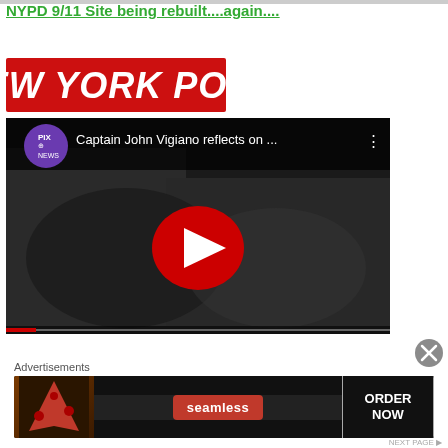NYPD 9/11 Site being rebuilt....again....
[Figure (logo): New York Post logo - white bold italic text on red background]
[Figure (screenshot): YouTube video embed: Captain John Vigiano reflects on ... - PIX11 NEWS channel. Shows a black and white photo of a man holding a baby, with YouTube play button overlay.]
Advertisements
[Figure (photo): Seamless advertisement banner with pizza image on left, Seamless red button in center, ORDER NOW on right with dark background]